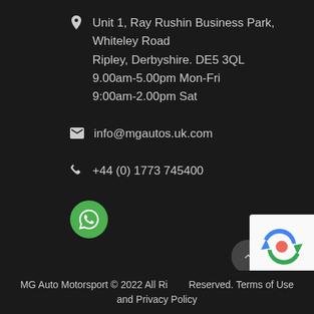Unit 1, Ray Rushin Business Park, Whiteley Road
Ripley, Derbyshire. DE5 3QL
9.00am-5.00pm Mon-Fri
9:00am-2.00pm Sat
info@mgautos.uk.com
+44 (0) 1773 745400
[Figure (infographic): Green circular WhatsApp button icon]
MG Auto Motorsport © 2022 All Rights Reserved. Terms of Use and Privacy Policy